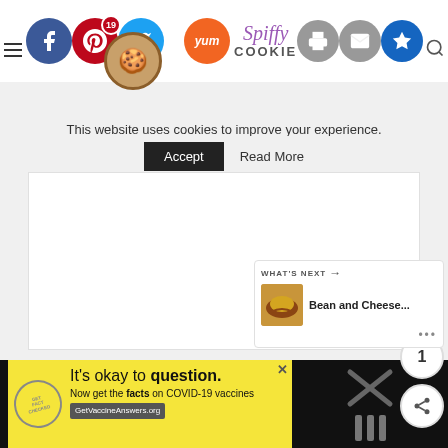[Figure (screenshot): Top navigation bar with social share icons: Facebook (blue circle), Pinterest (red circle, badge 19), Twitter (blue circle), Yummly orange circle, print icon (gray), email icon (gray), crown icon (blue). Cookie emoji overlapping. Spiffy Cookie logo.]
This website uses cookies to improve your experience.
Accept   Read More
[Figure (photo): Large white/light gray content area - main article image area]
[Figure (infographic): Side action buttons: heart (purple), count 1, share icon]
1
WHAT'S NEXT →
Bean and Cheese...
[Figure (photo): Small thumbnail of Bean and Cheese dish]
It's okay to question. Now get the facts on COVID-19 vaccines GetVaccineAnswers.org
[Figure (screenshot): Ad banner with yellow background, stamp logo, COVID-19 vaccine information ad, and X/close button]